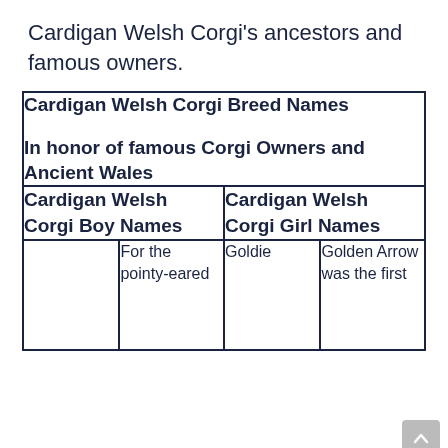Cardigan Welsh Corgi's ancestors and famous owners.
| Cardigan Welsh Corgi Breed Names

In honor of famous Corgi Owners and Ancient Wales |
| --- |
| Cardigan Welsh Corgi Boy Names | Cardigan Welsh Corgi Girl Names |
|  | For the pointy-eared | Goldie | Golden Arrow was the first |